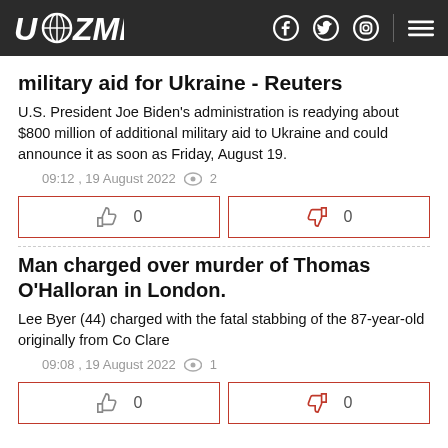UAZMI
military aid for Ukraine - Reuters
U.S. President Joe Biden's administration is readying about $800 million of additional military aid to Ukraine and could announce it as soon as Friday, August 19.
09:12 , 19 August 2022  2
👍 0   👎 0
Man charged over murder of Thomas O'Halloran in London.
Lee Byer (44) charged with the fatal stabbing of the 87-year-old originally from Co Clare
09:08 , 19 August 2022  1
👍 0   👎 0